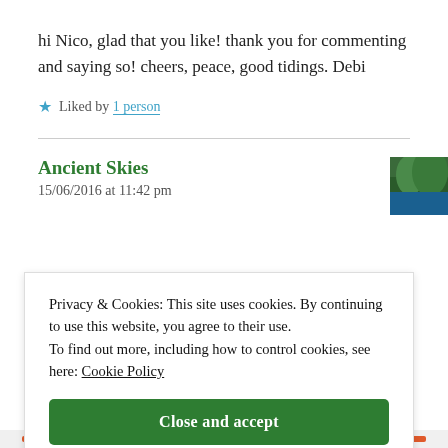hi Nico, glad that you like! thank you for commenting and saying so! cheers, peace, good tidings. Debi
★ Liked by 1 person
Ancient Skies
15/06/2016 at 11:42 pm
Privacy & Cookies: This site uses cookies. By continuing to use this website, you agree to their use. To find out more, including how to control cookies, see here: Cookie Policy
Close and accept